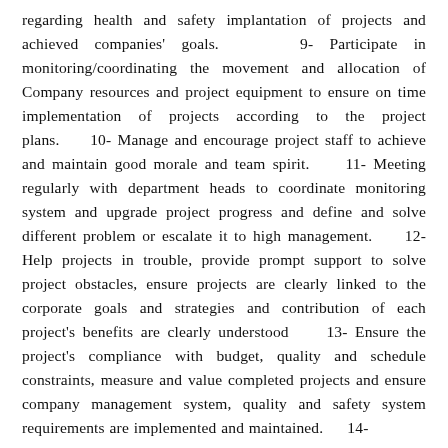regarding health and safety implantation of projects and achieved companies' goals.     9- Participate in monitoring/coordinating the movement and allocation of Company resources and project equipment to ensure on time implementation of projects according to the project plans.     10- Manage and encourage project staff to achieve and maintain good morale and team spirit.     11- Meeting regularly with department heads to coordinate monitoring system and upgrade project progress and define and solve different problem or escalate it to high management.     12- Help projects in trouble, provide prompt support to solve project obstacles, ensure projects are clearly linked to the corporate goals and strategies and contribution of each project's benefits are clearly understood     13- Ensure the project's compliance with budget, quality and schedule constraints, measure and value completed projects and ensure company management system, quality and safety system requirements are implemented and maintained.     14-